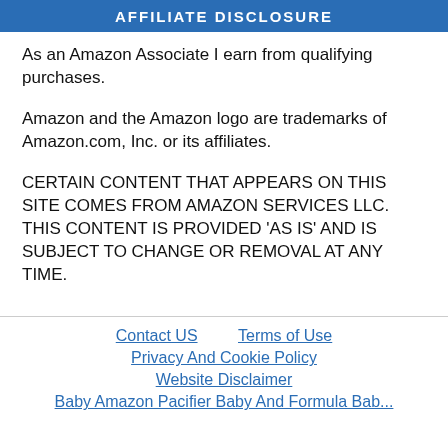AFFILIATE DISCLOSURE
As an Amazon Associate I earn from qualifying purchases.
Amazon and the Amazon logo are trademarks of Amazon.com, Inc. or its affiliates.
CERTAIN CONTENT THAT APPEARS ON THIS SITE COMES FROM AMAZON SERVICES LLC. THIS CONTENT IS PROVIDED 'AS IS' AND IS SUBJECT TO CHANGE OR REMOVAL AT ANY TIME.
Contact US   Terms of Use
Privacy And Cookie Policy
Website Disclaimer
Baby Amazon Pacifier Baby And Formula Baby...